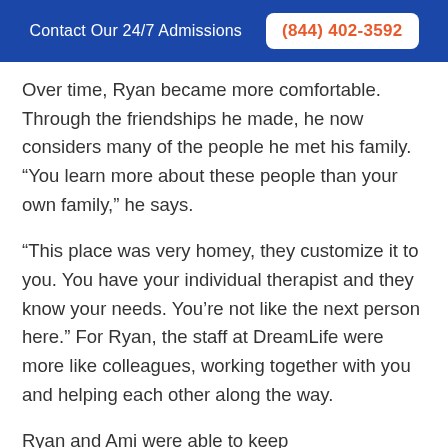Contact Our 24/7 Admissions  (844) 402-3592
Over time, Ryan became more comfortable. Through the friendships he made, he now considers many of the people he met his family. “You learn more about these people than your own family,” he says.
“This place was very homey, they customize it to you. You have your individual therapist and they know your needs. You’re not like the next person here.” For Ryan, the staff at DreamLife were more like colleagues, working together with you and helping each other along the way.
Ryan and Ami were able to keep